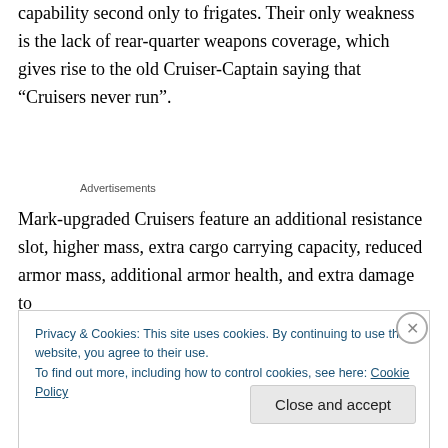capability second only to frigates. Their only weakness is the lack of rear-quarter weapons coverage, which gives rise to the old Cruiser-Captain saying that “Cruisers never run”.
Advertisements
Mark-upgraded Cruisers feature an additional resistance slot, higher mass, extra cargo carrying capacity, reduced armor mass, additional armor health, and extra damage to
Privacy & Cookies: This site uses cookies. By continuing to use this website, you agree to their use.
To find out more, including how to control cookies, see here: Cookie Policy